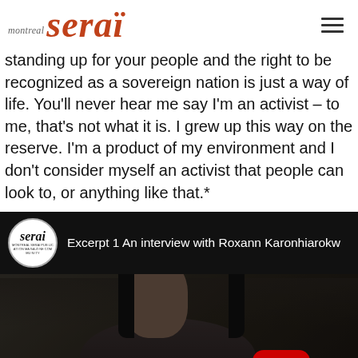montreal serai
standing up for your people and the right to be recognized as a sovereign nation is just a way of life. You'll never hear me say I'm an activist – to me, that's not what it is. I grew up this way on the reserve. I'm a product of my environment and I don't consider myself an activist that people can look to, or anything like that.*
[Figure (screenshot): YouTube video embed thumbnail showing 'Excerpt 1 An interview with Roxann Karonhiarokw' with Serai logo circle icon on the left, white text title, and a dark video thumbnail below showing a person seated with a YouTube play button overlay.]